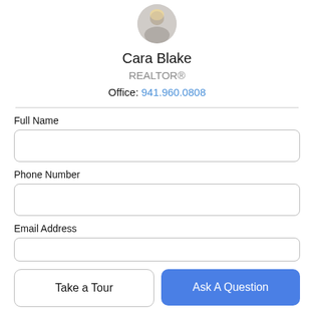[Figure (photo): Circular cropped photo of Cara Blake, a woman with blonde hair]
Cara Blake
REALTOR®
Office: 941.960.0808
Full Name
Phone Number
Email Address
Take a Tour
Ask A Question